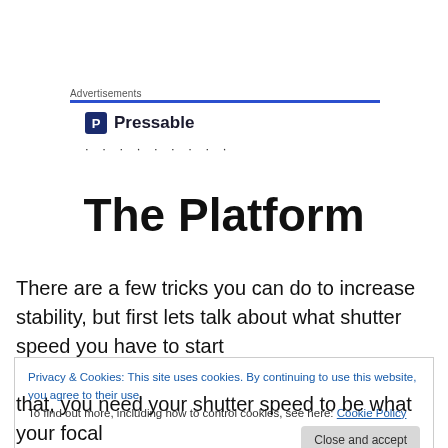Advertisements
[Figure (logo): Pressable logo with blue 'P' icon and brand name, followed by a row of dots]
The Platform
There are a few tricks you can do to increase stability, but first lets talk about what shutter speed you have to start
Privacy & Cookies: This site uses cookies. By continuing to use this website, you agree to their use. To find out more, including how to control cookies, see here: Cookie Policy
that, you need your shutter speed to be what your focal